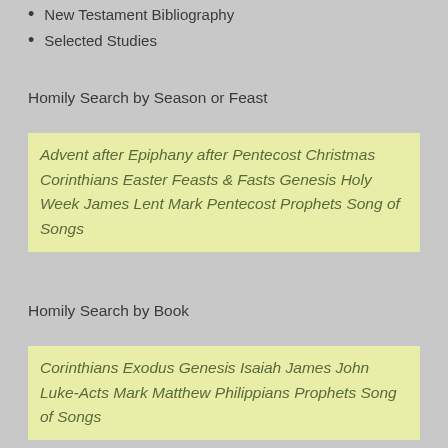New Testament Bibliography
Selected Studies
Homily Search by Season or Feast
Advent after Epiphany after Pentecost Christmas Corinthians Easter Feasts & Fasts Genesis Holy Week James Lent Mark Pentecost Prophets Song of Songs
Homily Search by Book
Corinthians Exodus Genesis Isaiah James John Luke-Acts Mark Matthew Philippians Prophets Song of Songs